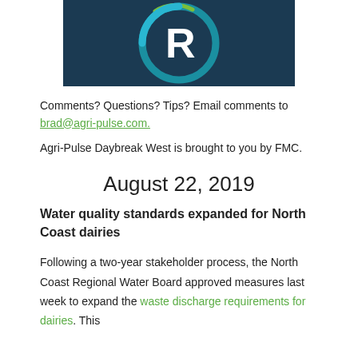[Figure (logo): Agri-Pulse newsletter logo with circular design containing letter R on dark navy background with cyan and green arc]
Comments? Questions? Tips? Email comments to brad@agri-pulse.com.
Agri-Pulse Daybreak West is brought to you by FMC.
August 22, 2019
Water quality standards expanded for North Coast dairies
Following a two-year stakeholder process, the North Coast Regional Water Board approved measures last week to expand the waste discharge requirements for dairies. This